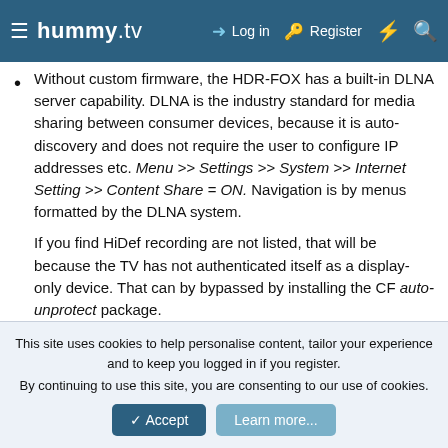hummy.tv — Log in   Register
Without custom firmware, the HDR-FOX has a built-in DLNA server capability. DLNA is the industry standard for media sharing between consumer devices, because it is auto-discovery and does not require the user to configure IP addresses etc. Menu >> Settings >> System >> Internet Setting >> Content Share = ON. Navigation is by menus formatted by the DLNA system.
If you find HiDef recording are not listed, that will be because the TV has not authenticated itself as a display-only device. That can by bypassed by installing the CF auto-unprotect package.
With custom firmware, you can configure the HDR-FOX as as SMB server (samba package) and/or NFS server
This site uses cookies to help personalise content, tailor your experience and to keep you logged in if you register.
By continuing to use this site, you are consenting to our use of cookies.